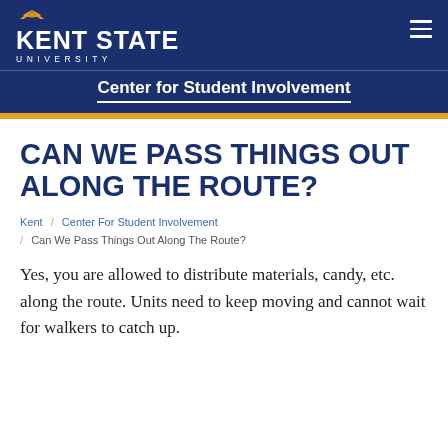Kent State University — Center for Student Involvement
CAN WE PASS THINGS OUT ALONG THE ROUTE?
Kent / Center For Student Involvement / Can We Pass Things Out Along The Route?
Yes, you are allowed to distribute materials, candy, etc. along the route. Units need to keep moving and cannot wait for walkers to catch up.